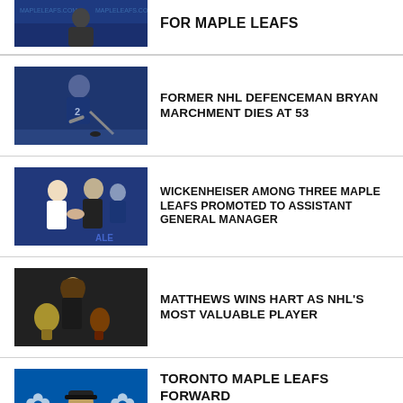FOR MAPLE LEAFS
FORMER NHL DEFENCEMAN BRYAN MARCHMENT DIES AT 53
WICKENHEISER AMONG THREE MAPLE LEAFS PROMOTED TO ASSISTANT GENERAL MANAGER
MATTHEWS WINS HART AS NHL'S MOST VALUABLE PLAYER
TORONTO MAPLE LEAFS FORWARD